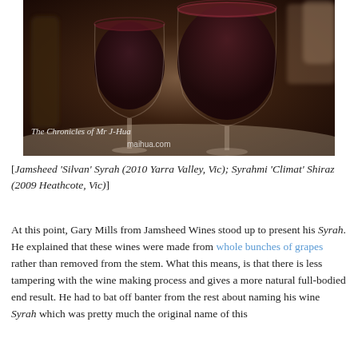[Figure (photo): Two glasses of red wine on a table. The left glass is narrower and slightly in the foreground; the right glass is larger and fuller. Background is blurred with bottles. Watermark reads 'The Chronicles of Mr J-Hua' and 'maihua.com'.]
[Jamsheed 'Silvan' Syrah (2010 Yarra Valley, Vic); Syrahmi 'Climat' Shiraz (2009 Heathcote, Vic)]
At this point, Gary Mills from Jamsheed Wines stood up to present his Syrah. He explained that these wines were made from whole bunches of grapes rather than removed from the stem. What this means, is that there is less tampering with the wine making process and gives a more natural full-bodied end result. He had to bat off banter from the rest about naming his wine Syrah which was pretty much the original name of this